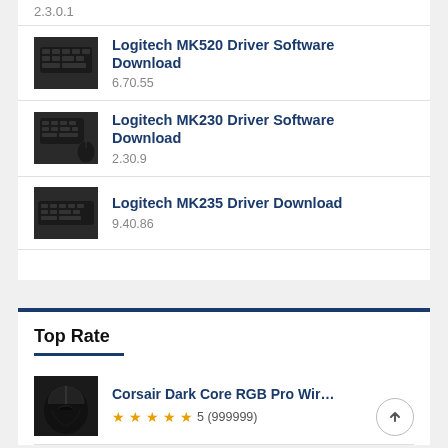Logitech MK520 Driver Software Download
6.70.55
Logitech MK230 Driver Software Download
2.30.9
Logitech MK235 Driver Download
9.40.86
Top Rate
Corsair Dark Core RGB Pro Wireless Driver Sof...
5 (999999)